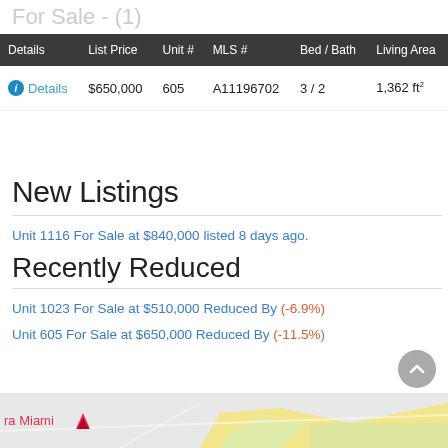For Sale - (1)
| Details | List Price | Unit # | MLS # | Bed / Bath | Living Area |
| --- | --- | --- | --- | --- | --- |
| Details | $650,000 | 605 | A11196702 | 3 / 2 | 1,362 ft² |
New Listings
Unit 1116 For Sale at $840,000 listed 8 days ago.
Recently Reduced
Unit 1023 For Sale at $510,000 Reduced By (-6.9%)
Unit 605 For Sale at $650,000 Reduced By (-11.5%)
[Figure (map): Partial map of Bora Miami area with street view]